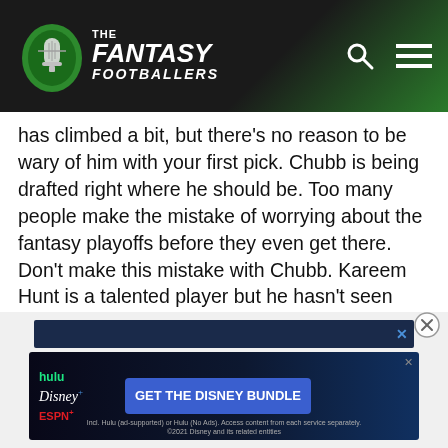The Fantasy Footballers
has climbed a bit, but there's no reason to be wary of him with your first pick. Chubb is being drafted right where he should be. Too many people make the mistake of worrying about the fantasy playoffs before they even get there. Don't make this mistake with Chubb. Kareem Hunt is a talented player but he hasn't seen game action in a long time and can't even suit up until Week 10. Chubb's weekly ceiling should only take a tiny hit and he should remain a rock-solid RB1 all of 2019.
[Figure (screenshot): Advertisement banner: Disney Bundle ad with Hulu, Disney+, ESPN+ logos and 'GET THE DISNEY BUNDLE' call to action button. Fine print: Incl. Hulu (ad-supported) or Hulu (No Ads). Access content from each service separately. ©2021 Disney and its related entities]